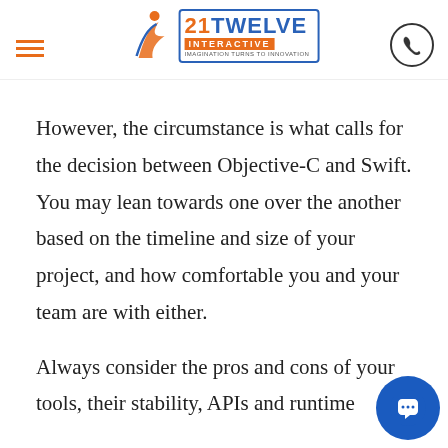21Twelve Interactive — IMAGINATION TURNS TO INNOVATION
best option for big projects
However, the circumstance is what calls for the decision between Objective-C and Swift. You may lean towards one over the another based on the timeline and size of your project, and how comfortable you and your team are with either.
Always consider the pros and cons of your tools, their stability, APIs and runtime